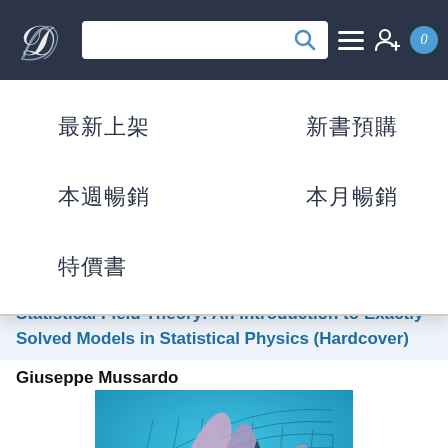Navigation bar with logo, search, and icons
最新上架
新書預購
本週暢銷
本月暢銷
特價書
Statistical Field Theory: An Introduction to Exactly Solved Models in Statistical Physics (Hardcover)
Giuseppe Mussardo
[Figure (photo): Book cover of Statistical Field Theory showing a 3D mathematical surface mesh on a blue background]